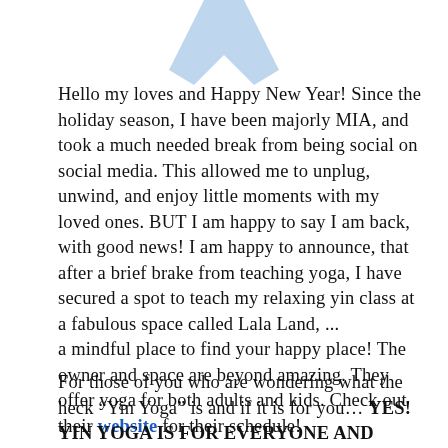[Figure (illustration): Light blue ribbon graphic partially visible at the top center of the page]
Hello my loves and Happy New Year! Since the holiday season, I have been majorly MIA, and took a much needed break from being social on social media. This allowed me to unplug, unwind, and enjoy little moments with my loved ones. BUT I am happy to say I am back, with good news! I am happy to announce, that after a brief brake from teaching yoga, I have secured a spot to teach my relaxing yin class at a fabulous space called Lala Land, ... a mindful place to find your happy place! The owner and space are beyond amazing. They offer yoga for both adults and kids. Check out their website for their schedule!
For those of you who are wondering what the heck “Yin Yoga” is and if it is for you… YES! YIN YOGA IS FOR EVERYONE AND EVERYONE SHOULD DO